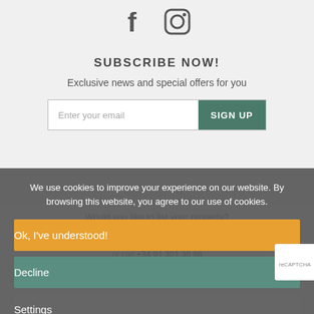[Figure (illustration): Social media icons: Facebook (f) and Instagram (camera outline) in dark gray on light gray background]
SUBSCRIBE NOW!
Exclusive news and special offers for you
Enter your email  SIGN UP
Would you like to list your property?
or call +34 91 301 30 86
to speak a villa specialist
We use cookies to improve your experience on our website. By browsing this website, you agree to our use of cookies.
Ok, I've understood!
Decline
Settings
More Info